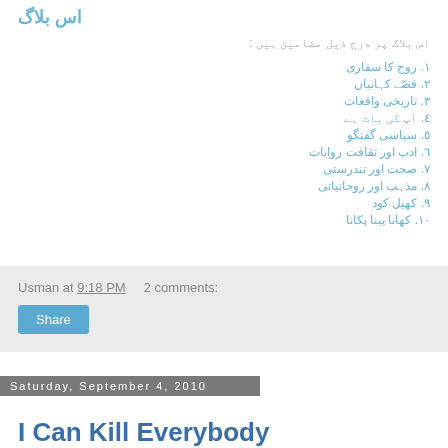اس بلاگ
اس بلاگ پر درج ذیل مضامین ہیں :
١. روح کا سفاری
٢. قصّے کہانیاں
٣. تاریخی واقعات
٤. آپ کی بات ہے
٥. سیاسی گفتگو
٦. ادب اور ثقافت روایات
٧. صحت اور تندرستی
٨. مذہب اور روحانیاتی
٩. کھیل کود
١٠. کھانا پینا پکانا
Usman at 9:18 PM    2 comments:
Share
Saturday, September 4, 2010
I Can Kill Everybody